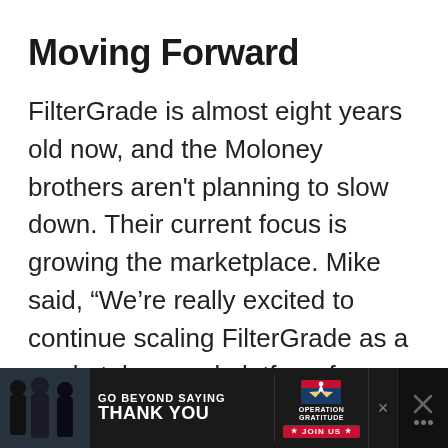Moving Forward
FilterGrade is almost eight years old now, and the Moloney brothers aren't planning to slow down. Their current focus is growing the marketplace. Mike said, “We’re really excited to continue scaling FilterGrade as a marketplace and platform for creators. Our goals are to increase revenue and volume so more creators can earn a living selling their digital products on FilterGrade.”
[Figure (infographic): Advertisement banner at the bottom of the page: dark background with silhouetted figures on the left, text 'GO BEYOND SAYING THANK YOU' in white, Operation Gratitude logo with eagle, red 'JOIN US' button with stars, and close/navigation icons on the right.]